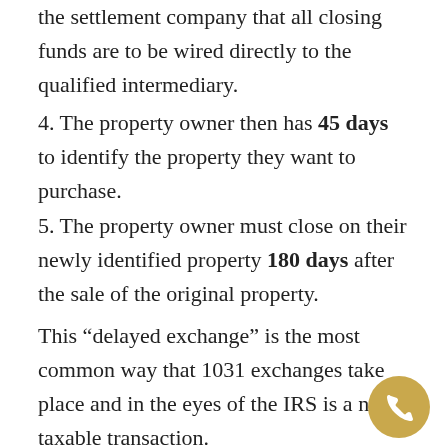the settlement company that all closing funds are to be wired directly to the qualified intermediary.
4. The property owner then has 45 days to identify the property they want to purchase.
5. The property owner must close on their newly identified property 180 days after the sale of the original property.
This “delayed exchange” is the most common way that 1031 exchanges take place and in the eyes of the IRS is a non-taxable transaction.
Key Points to Consider
The most important 3 steps that the property owner must take are (1) to contact the QI prior to